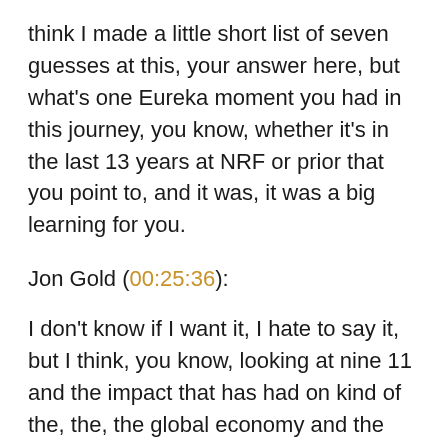think I made a little short list of seven guesses at this, your answer here, but what's one Eureka moment you had in this journey, you know, whether it's in the last 13 years at NRF or prior that you point to, and it was, it was a big learning for you.
Jon Gold (00:25:36):
I don't know if I want it, I hate to say it, but I think, you know, looking at nine 11 and the impact that has had on kind of the, the, the global economy and the realization of how connected we are and how important that